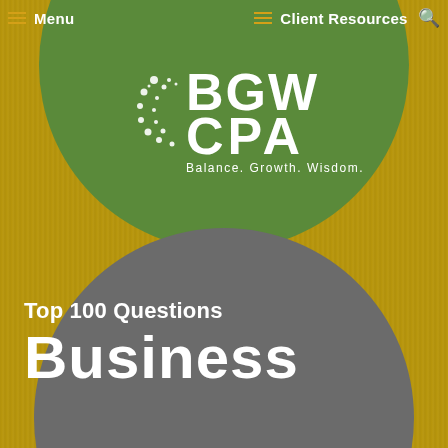Menu | Client Resources
[Figure (logo): BGW CPA logo with circular dot pattern icon and tagline 'Balance. Growth. Wisdom.' on green circle background]
Top 100 Questions
Business